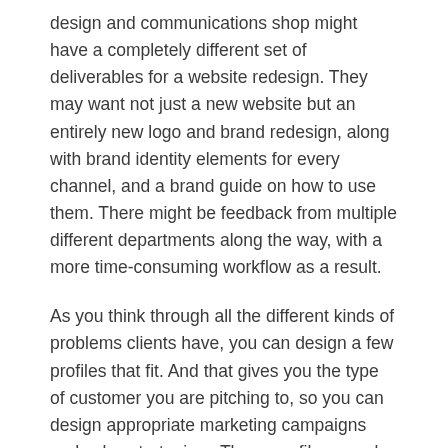design and communications shop might have a completely different set of deliverables for a website redesign. They may want not just a new website but an entirely new logo and brand redesign, along with brand identity elements for every channel, and a brand guide on how to use them. There might be feedback from multiple different departments along the way, with a more time-consuming workflow as a result.
As you think through all the different kinds of problems clients have, you can design a few profiles that fit. And that gives you the type of customer you are pitching to, so you can design appropriate marketing campaigns and sales strategies.  These profiles are also useful frameworks as you develop package pricing and bids.
Whether your creative business is large or small, creating detailed client and project profiles is a great way